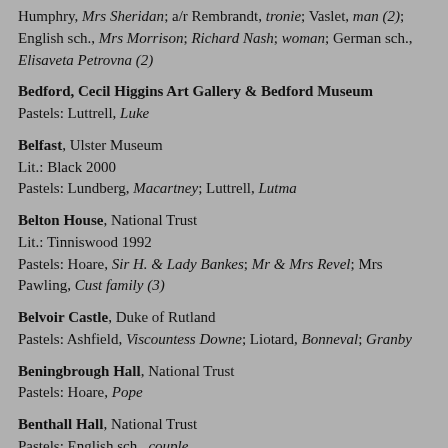Humphry, Mrs Sheridan; a/r Rembrandt, tronie; Vaslet, man (2); English sch., Mrs Morrison; Richard Nash; woman; German sch., Elisaveta Petrovna (2)
Bedford, Cecil Higgins Art Gallery & Bedford Museum
Pastels: Luttrell, Luke
Belfast, Ulster Museum
Lit.: Black 2000
Pastels: Lundberg, Macartney; Luttrell, Lutma
Belton House, National Trust
Lit.: Tinniswood 1992
Pastels: Hoare, Sir H. & Lady Bankes; Mr & Mrs Revel; Mrs Pawling, Cust family (3)
Belvoir Castle, Duke of Rutland
Pastels: Ashfield, Viscountess Downe; Liotard, Bonneval; Granby
Beningbrough Hall, National Trust
Pastels: Hoare, Pope
Benthall Hall, National Trust
Pastels: English sch., couple
Birmingham, Barber Institute